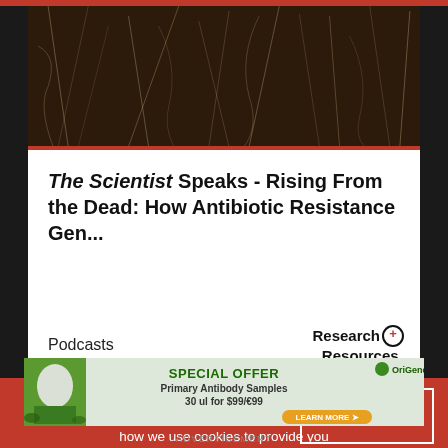[Figure (photo): Close-up photo of dark soil with white roots/plant matter visible]
The Scientist Speaks - Rising From the Dead: How Antibiotic Resistance Gen...
Podcasts
[Figure (logo): Research+ Resources logo]
[Figure (photo): Dark background with glowing particles/bacteria]
make it clearer how we use your personal data. Please read our Cookie Policy to learn how we use cookies to provide you
I UNDERSTAND
[Figure (infographic): OriGene special offer advertisement - Primary Antibody Samples 30 ul for $99/€99]
ADVERTISEMENT